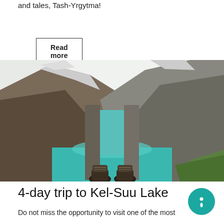and tales, Tash-Yrgytma!
Read more
[Figure (photo): A person lying down looking at a turquoise mountain lake between steep rocky cliffs, with hiking boots visible in the foreground.]
4-day trip to Kel-Suu Lake
Do not miss the opportunity to visit one of the most beautiful lakes in Kyrgyzstan. This is Kel-Suu Lake...